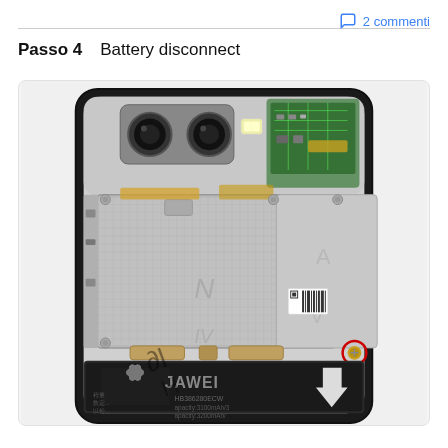2 commenti
Passo 4    Battery disconnect
[Figure (photo): Disassembled Huawei smartphone showing internal components: dual rear cameras at top, main circuit board with shielding, ribbon cables, and Huawei battery labeled 'HB386280ECW, Capacity:3100mAh/3, Capacity:3200mAh/' with a white arrow pointing upward. A red circled screw is visible near the battery connector area.]